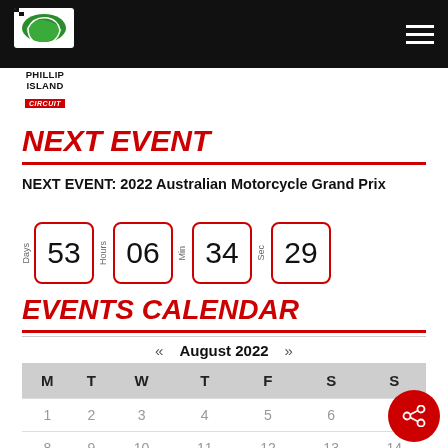[Figure (logo): Phillip Island Circuit logo with checkered flag on black header bar]
NEXT EVENT
NEXT EVENT: 2022 Australian Motorcycle Grand Prix
53 Days 06 Hours 34 Min 29 Sec countdown timer
EVENTS CALENDAR
| M | T | W | T | F | S | S |
| --- | --- | --- | --- | --- | --- | --- |
| 1 | 2 | 3 | 4 | 5 | 6 | 7 |
| 8 | 9 | 10 | 11 | 12 | 13 | 14 |